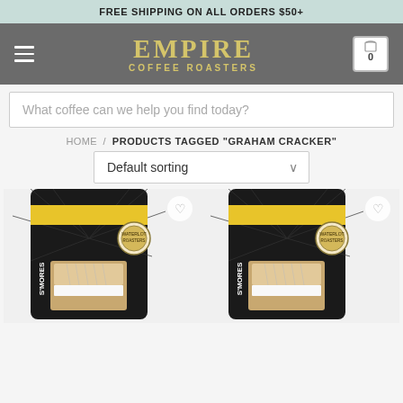FREE SHIPPING ON ALL ORDERS $50+
[Figure (logo): Empire Coffee Roasters logo with hamburger menu on left and cart icon on right, on a gray background]
What coffee can we help you find today?
HOME / PRODUCTS TAGGED “GRAHAM CRACKER”
Default sorting
[Figure (photo): Two S'mores coffee product bags with black packaging and yellow label from Waterlot Roasters, showing graham cracker image on each bag]
[Figure (photo): Second S'mores coffee product bag, identical to the first]